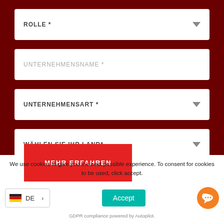[Figure (screenshot): Web form with dark red background containing four dropdown/input fields: ROLLE *, UNTERNEHMENSNAME *, UNTERNEHMENSART *, WÄHLEN SIE IHR LAND*]
ROLLE *
UNTERNEHMENSNAME *
UNTERNEHMENSART *
WÄHLEN SIE IHR LAND*
MEHR ERFAHREN
We use cookies to give you the best possible experience. To consent for cookies to be used, click accept.
DE
Accept
GDPR compliance powered by Autopilot.